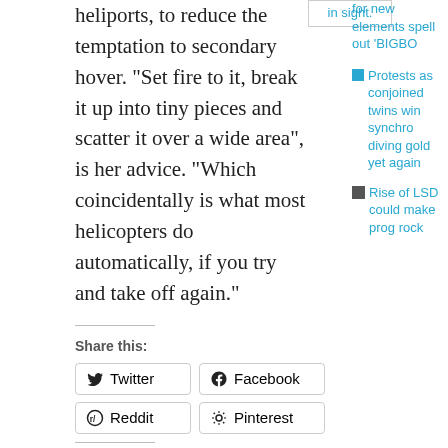heliports, to reduce the temptation to secondary hover. “Set fire to it, break it up into tiny pieces and scatter it over a wide area”, is her advice. “Which coincidentally is what most helicopters do automatically, if you try and take off again.”
Share this:
Twitter
Facebook
Reddit
Pinterest
Like this:
Like
Be the first to like this.
in sight.
for new elements spell out ‘BIGBO
Protests as conjoined twins win synchro diving gold yet again
Rise of LSD could make prog rock